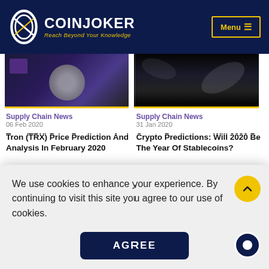COINJOKER — Reach Beyond Your Knowledge
[Figure (photo): Cryptocurrency coin on keyboard with purple lighting]
Supply Chain News
06 Feb 2020
Tron (TRX) Price Prediction And Analysis In February 2020
[Figure (photo): Dark abstract background with light streaks]
Supply Chain News
31 Jan 2020
Crypto Predictions: Will 2020 Be The Year Of Stablecoins?
[Figure (photo): Gold cryptocurrency coin close-up]
Price Prediction And
[Figure (photo): Keyboard with warm backlighting and coins]
Significant Year For
We use cookies to enhance your experience. By continuing to visit this site you agree to our use of cookies.